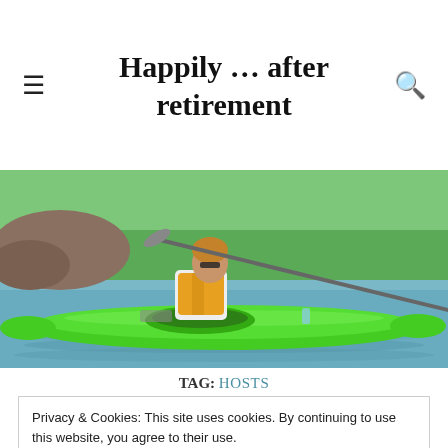Happily … after retirement
[Figure (photo): Person paddling a bright green kayak on a lake, wearing sunglasses and a yellow life vest, with green hills in the background]
TAG: HOSTS
Privacy & Cookies: This site uses cookies. By continuing to use this website, you agree to their use.
To find out more, including how to control cookies, see here:
Cookie Policy

Close and accept